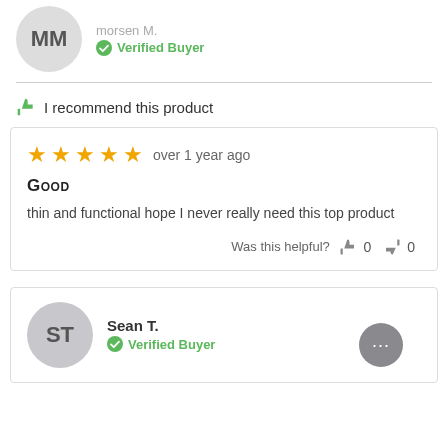[Figure (illustration): User avatar circle with initials MM in gray]
Verified Buyer
I recommend this product
[Figure (illustration): 5 orange stars rating]
over 1 year ago
Good
thin and functional hope I never really need this top product
Was this helpful? 0 0
Sean T.
Verified Buyer